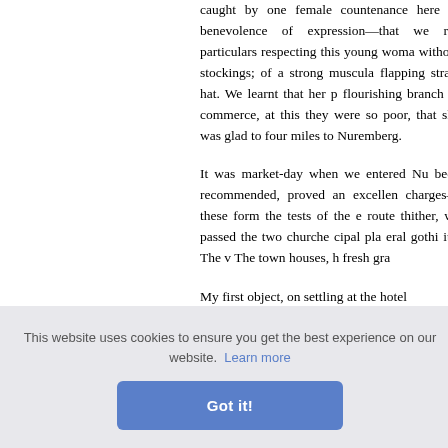caught by one female countenance here of benevolence of expression—that we received particulars respecting this young woman without stockings; of a strong muscular flapping straw hat. We learnt that her flourishing branch of commerce, at this they were so poor, that she was glad to four miles to Nuremberg.

It was market-day when we entered Nu been recommended, proved an excellen charges—these form the tests of the e route thither, we passed the two churche cipal pla eral gothi ity. The v The town houses, h fresh gra
This website uses cookies to ensure you get the best experience on our website. Learn more
Got it!
My first object, on settling at the hotel